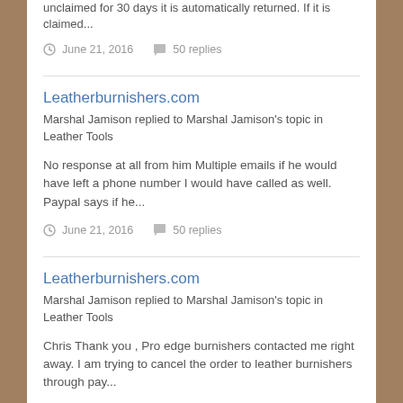unclaimed for 30 days it is automatically returned. If it is claimed...
June 21, 2016   50 replies
Leatherburnishers.com
Marshal Jamison replied to Marshal Jamison's topic in Leather Tools
No response at all from him Multiple emails if he would have left a phone number I would have called as well. Paypal says if he...
June 21, 2016   50 replies
Leatherburnishers.com
Marshal Jamison replied to Marshal Jamison's topic in Leather Tools
Chris Thank you , Pro edge burnishers contacted me right away. I am trying to cancel the order to leather burnishers through pay...
June 13, 2016   50 replies